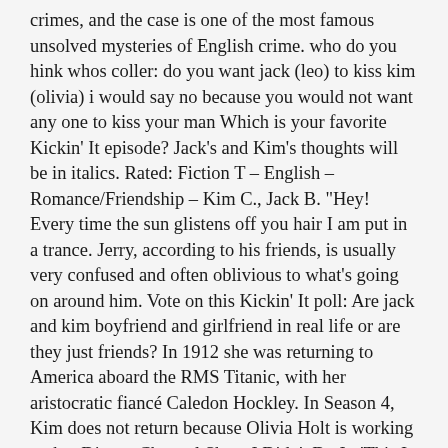crimes, and the case is one of the most famous unsolved mysteries of English crime. who do you hink whos coller: do you want jack (leo) to kiss kim (olivia) i would say no because you would not want any one to kiss your man Which is your favorite Kickin' It episode? Jack's and Kim's thoughts will be in italics. Rated: Fiction T – English – Romance/Friendship – Kim C., Jack B. "Hey! Every time the sun glistens off you hair I am put in a trance. Jerry, according to his friends, is usually very confused and often oblivious to what's going on around him. Vote on this Kickin' It poll: Are jack and kim boyfriend and girlfriend in real life or are they just friends? In 1912 she was returning to America aboard the RMS Titanic, with her aristocratic fiancé Caledon Hockley. In Season 4, Kim does not return because Olivia Holt is working on her Disney Channel Show I Didn't Do It. 'This Is Us' executive producer Isaac Aptaker offers insights into the events in season 4, episode 2, 'The Pool: Part Two.' Completing the CAPTCHA proves you are a human and gives you temporary access to the web property. "Milt and Eddie...